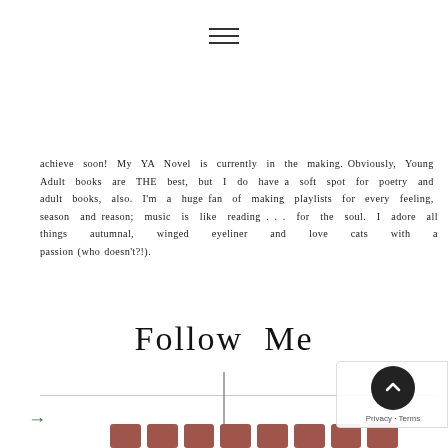[Figure (other): Hamburger menu icon (three horizontal lines) centered at top of page]
achieve soon! My YA Novel is currently in the making. Obviously, Young Adult books are THE best, but I do have a soft spot for poetry and adult books, also. I'm a huge fan of making playlists for every feeling, season and reason; music is like reading . . . for the soul. I adore all things autumnal, winged eyeliner and love cats with a passion (who doesn't?!).
Follow Me
[Figure (other): Vertical decorative line below Follow Me heading]
[Figure (other): Green right arrow icon and row of terracotta/brown social media icon buttons at bottom of page]
[Figure (other): Google Privacy badge with dark circular button containing upward chevron arrow, and Privacy · Terms text]